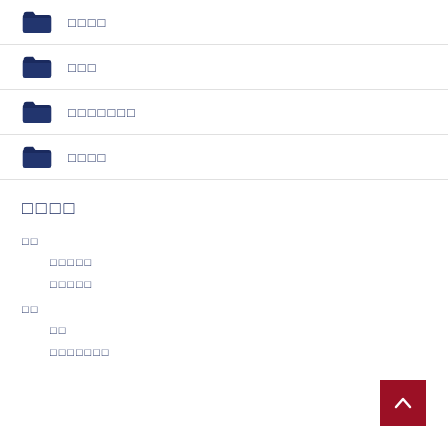□□□□
□□□
□□□□□□□
□□□□
□□□□
□□
□□□□□
□□□□□
□□
□□
□□□□□□□